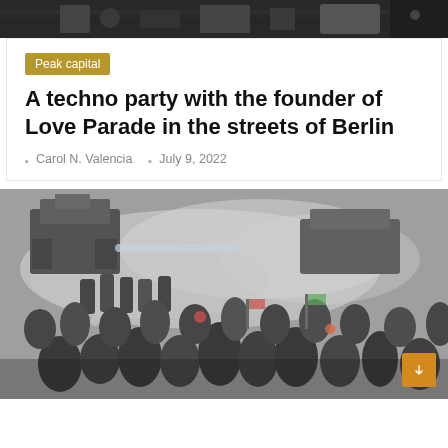[Figure (photo): Partial top image showing a dark crowd scene, partially cropped at top of page]
Peak capital
A techno party with the founder of Love Parade in the streets of Berlin
Carol N. Valencia   July 9, 2022
[Figure (photo): A large crowd of people in a street scene with smoke/tear gas visible, military or police vehicles in background, people in foreground appear to be protesting or in a chaotic situation]